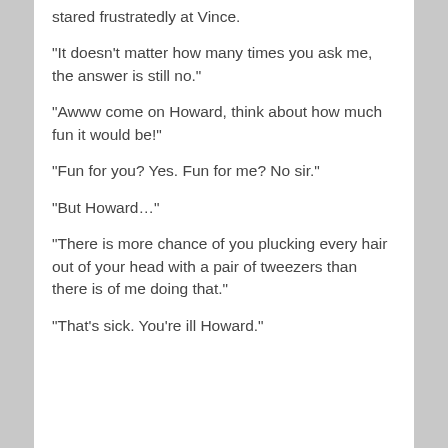stared frustratedly at Vince.
“It doesn’t matter how many times you ask me, the answer is still no.”
“Awww come on Howard, think about how much fun it would be!”
“Fun for you? Yes. Fun for me? No sir.”
“But Howard…”
“There is more chance of you plucking every hair out of your head with a pair of tweezers than there is of me doing that.”
“That’s sick. You’re ill Howard.”